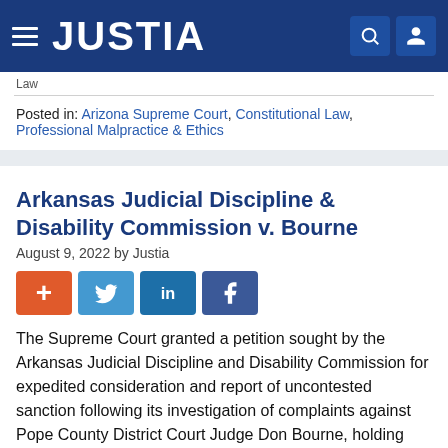JUSTIA
Law
Posted in: Arizona Supreme Court, Constitutional Law, Professional Malpractice & Ethics
Arkansas Judicial Discipline & Disability Commission v. Bourne
August 9, 2022 by Justia
[Figure (other): Social sharing buttons: plus, Twitter, LinkedIn, Facebook]
The Supreme Court granted a petition sought by the Arkansas Judicial Discipline and Disability Commission for expedited consideration and report of uncontested sanction following its investigation of complaints against Pope County District Court Judge Don Bourne, holding that Judge Bourne has voluntarily consented to...